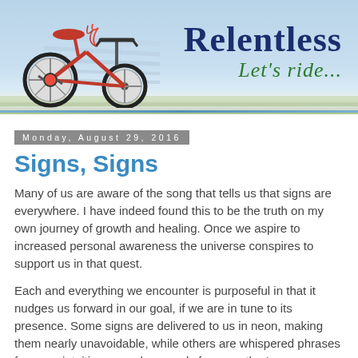[Figure (illustration): Blog header banner with a red tricycle illustration on a light blue sky background with motion lines. Text reads 'Relentless' in large dark blue bold serif font and 'Let's ride...' in green italic below it.]
Monday, August 29, 2016
Signs, Signs
Many of us are aware of the song that tells us that signs are everywhere. I have indeed found this to be the truth on my own journey of growth and healing. Once we aspire to increased personal awareness the universe conspires to support us in that quest.
Each and everything we encounter is purposeful in that it nudges us forward in our goal, if we are in tune to its presence. Some signs are delivered to us in neon, making them nearly unavoidable, while others are whispered phrases from our intuition or spoken words from another's